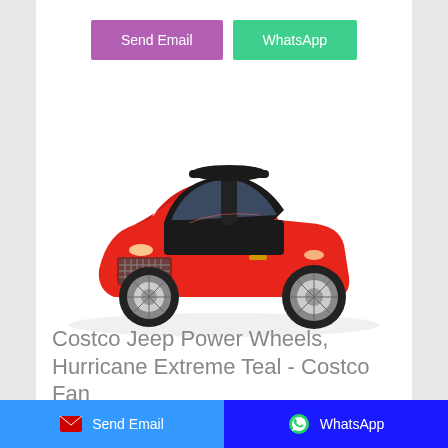[Figure (other): Two buttons: 'Send Email' (purple/violet) and 'WhatsApp' (green teal)]
[Figure (photo): Red toy ride-on Bentley push car for children with black steering wheel, black seat, and chrome wheels on white background]
Costco Jeep Power Wheels, Hurricane Extreme Teal - Costco Fan
[Figure (other): Bottom footer bar with two buttons: 'Send Email' (blue with envelope icon) and 'WhatsApp' (dark blue with WhatsApp icon)]